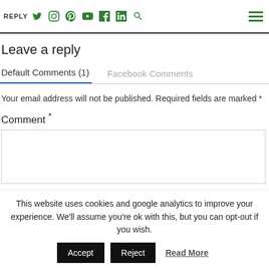REPLY — social nav icons (Twitter, Instagram, Pinterest, YouTube, Facebook, LinkedIn, Search) and hamburger menu
Leave a reply
Default Comments (1)    Facebook Comments
Your email address will not be published. Required fields are marked *
Comment *
This website uses cookies and google analytics to improve your experience. We'll assume you're ok with this, but you can opt-out if you wish.
Accept   Reject   Read More